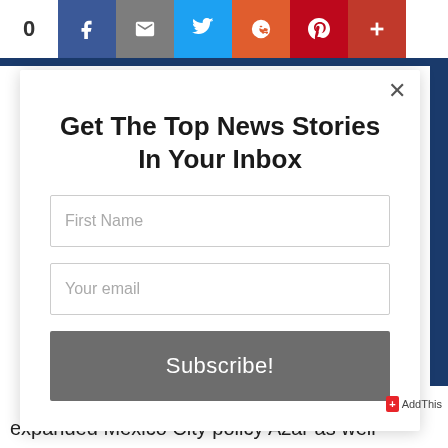[Figure (screenshot): Social media share bar at top with count '0', Facebook, email, Twitter, Reddit, Pinterest, and plus buttons]
Get The Top News Stories In Your Inbox
[Figure (screenshot): Email subscription form with First Name input, Your email input, and Subscribe! button]
expanded Mexico City policy Azar as well